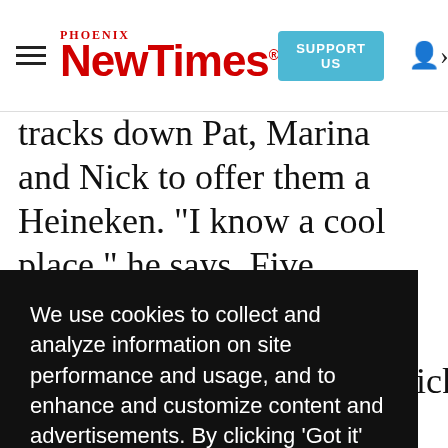Phoenix New Times — SUPPORT US
tracks down Pat, Marina and Nick to offer them a Heineken. "I know a cool place," he says. Five minutes over, Zach's cool place is a muddy field ... st
We use cookies to collect and analyze information on site performance and usage, and to enhance and customize content and advertisements. By clicking 'Got it' or continuing to use the site, you agree to allow cookies to be placed. To find out more, visit our cookies policy and our privacy policy.
Got it!
rubbish and cops a squat. Nick and Marina do